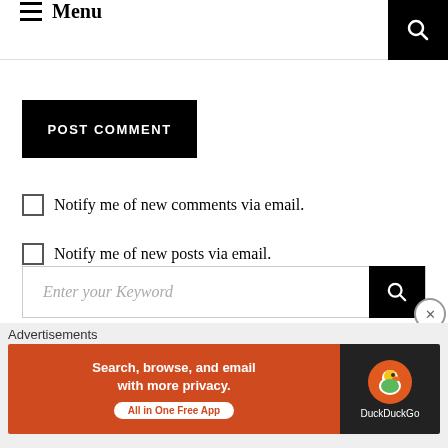Menu
POST COMMENT
Notify me of new comments via email.
Notify me of new posts via email.
Enter your Keyword
Advertisements
[Figure (screenshot): DuckDuckGo advertisement banner: 'Search, browse, and email with more privacy. All in One Free App' with DuckDuckGo logo on dark background]